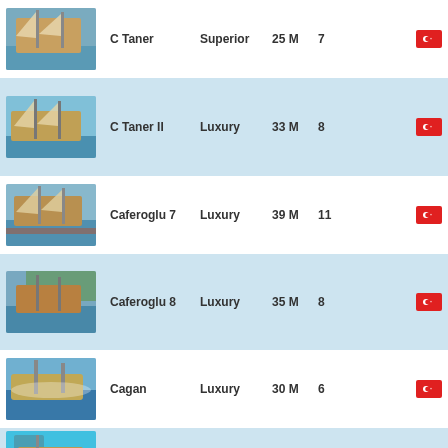C Taner | Superior | 25 M | 7 | Turkey
C Taner II | Luxury | 33 M | 8 | Turkey
Caferoglu 7 | Luxury | 39 M | 11 | Turkey
Caferoglu 8 | Luxury | 35 M | 8 | Turkey
Cagan | Luxury | 30 M | 6 | Turkey
Cagan 2 | Superior | 18 M | 3